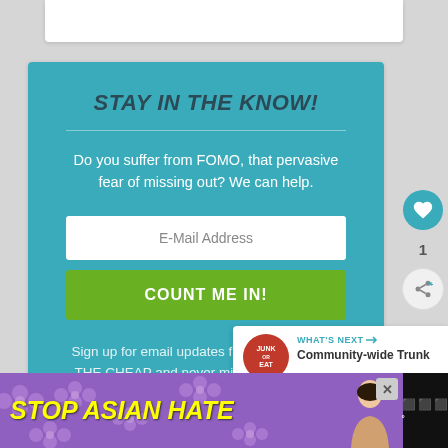STAY IN THE KNOW!
Do you suffer from FOMO, that pervasive fear of missing out? We can help.
E-Mail Address
COUNT ME IN!
Sign up for email updates from ATLANTA ON THE CHEAP and never miss a great deal or free event.
WHAT'S NEXT → Community-wide Trunk ...
[Figure (screenshot): STOP ASIAN HATE advertisement banner with yellow text on purple background with flower pattern, featuring a person's image on the right side]